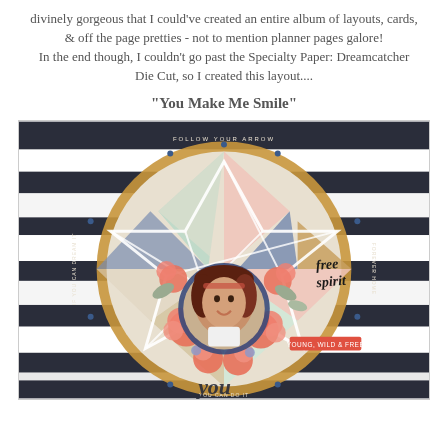divinely gorgeous that I could've created an entire album of layouts, cards, & off the page pretties - not to mention planner pages galore!
In the end though, I couldn't go past the Specialty Paper: Dreamcatcher Die Cut, so I created this layout....
"You Make Me Smile"
[Figure (photo): A scrapbook layout featuring a dreamcatcher die cut with geometric star pattern, floral embellishments, a circular photo of a young girl smiling, text reading 'free spirit' and 'you' at the bottom, with motivational text around the border of the dreamcatcher.]